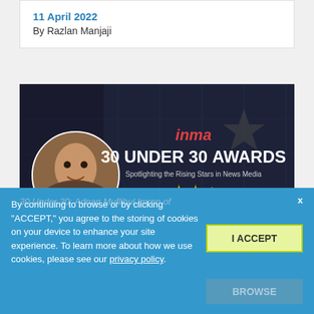11 April 2022
By Razlan Manjaji
[Figure (photo): INMA 30 Under 30 Awards banner with photo of a young man (Adnan Muflihul Imron) in a circular frame on the left. Dark background with star decorations. Text reads: inma | 30 UNDER 30 AWARDS | Spotlighting the Rising Stars in News Media]
By continuing to browse or by clicking "ACCEPT," you agree to the storing of cookies on your device to enhance your site experience. To learn more about how we use cookies, please see our privacy policy.
I ACCEPT